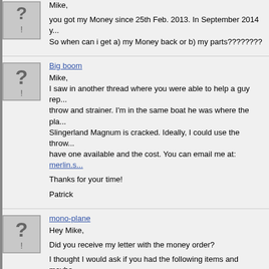[Figure (illustration): Default avatar icon with question mark, for first post (partially visible at top)]
Mike,
you got my Money since 25th Feb. 2013. In September 2014 y... So when can i get a) my Money back or b) my parts????????
[Figure (illustration): Default avatar icon with question mark, for Big boom post]
Big boom
Mike,
I saw in another thread where you were able to help a guy rep... throw and strainer. I'm in the same boat he was where the pla... Slingerland Magnum is cracked. Ideally, I could use the throw... have one available and the cost. You can email me at: merlin.s...

Thanks for your time!

Patrick
[Figure (illustration): Default avatar icon with question mark, for mono-plane post]
mono-plane
Hey Mike,

Did you receive my letter with the money order?

I thought I would ask if you had the following items and maybe... I'm looking for a nice 13 x 9 1980 to 1984 Tama Superstar Su... complete and original other than heads. Also I'm looking for a... post and either a nice late 60's or early 70's Ludwig single mo... mounting bracket (not rail mount). Thanks, Barry